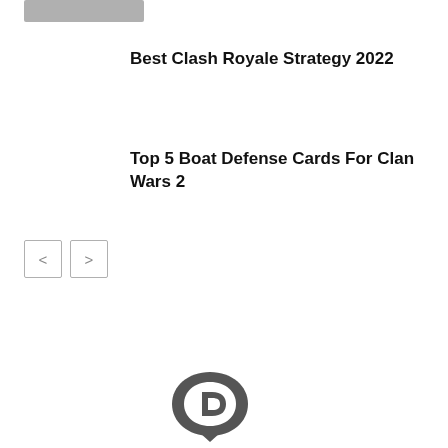[Figure (other): Blurred/placeholder image thumbnail in top left corner]
Best Clash Royale Strategy 2022
Top 5 Boat Defense Cards For Clan Wars 2
[Figure (other): Navigation previous and next arrow buttons]
[Figure (logo): Disqus logo icon - dark grey D letter inside an arc shape]